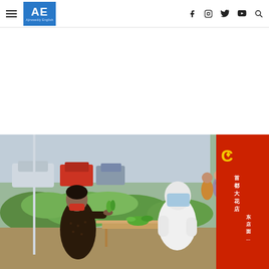AE Ajirweekly English — navigation header with hamburger menu, logo, and social icons (Facebook, Instagram, Twitter, YouTube, Search)
[Figure (photo): Outdoor scene showing a woman in dark patterned jacket and red mask handing green vegetables to a person in full white PPE hazmat suit and face shield, seated at a wooden table. Background shows people in masks queuing, parked cars, green bushes, and a red wall with Chinese characters. Setting appears to be a COVID-era community checkpoint or distribution point in China.]